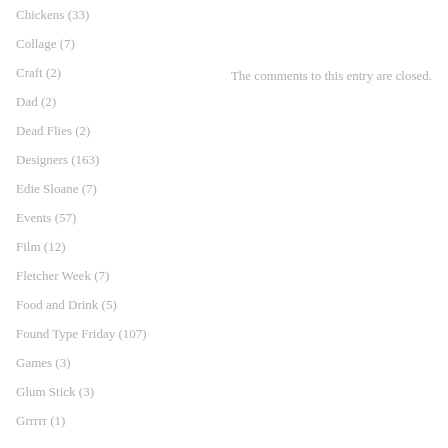Chickens (33)
Collage (7)
The comments to this entry are closed.
Craft (2)
Dad (2)
Dead Flies (2)
Designers (163)
Edie Sloane (7)
Events (57)
Film (12)
Fletcher Week (7)
Food and Drink (5)
Found Type Friday (107)
Games (3)
Glum Stick (3)
Grrrrr (1)